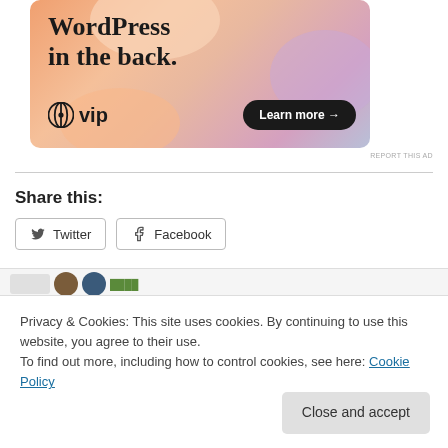[Figure (illustration): WordPress VIP advertisement banner with colorful blobs background, large text 'WordPress in the back.' with WordPress VIP logo and 'Learn more →' button on dark background]
REPORT THIS AD
Share this:
Twitter  Facebook  (social share buttons)
Privacy & Cookies: This site uses cookies. By continuing to use this website, you agree to their use.
To find out more, including how to control cookies, see here: Cookie Policy
Close and accept
October 13, 2018